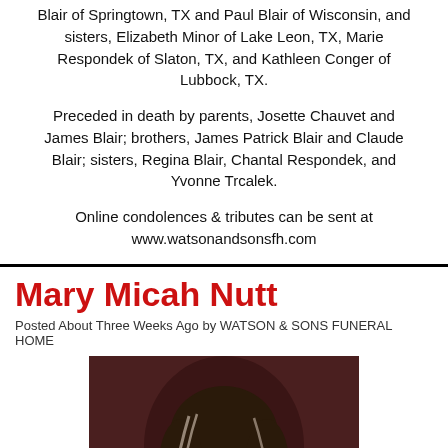Blair of Springtown, TX and Paul Blair of Wisconsin, and sisters, Elizabeth Minor of Lake Leon, TX, Marie Respondek of Slaton, TX, and Kathleen Conger of Lubbock, TX.
Preceded in death by parents, Josette Chauvet and James Blair; brothers, James Patrick Blair and Claude Blair; sisters, Regina Blair, Chantal Respondek, and Yvonne Trcalek.
Online condolences & tributes can be sent at www.watsonandsonsfh.com
Mary Micah Nutt
Posted About Three Weeks Ago by WATSON & SONS FUNERAL HOME
[Figure (photo): Portrait photo of Mary Micah Nutt, a woman with gray-streaked dark hair, against a dark reddish-brown background]